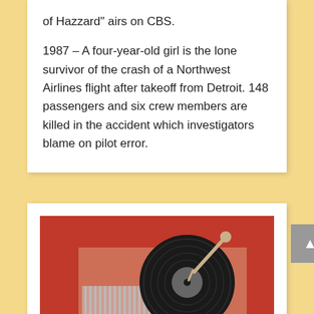of Hazzard" airs on CBS.
1987 – A four-year-old girl is the lone survivor of the crash of a Northwest Airlines flight after takeoff from Detroit. 148 passengers and six crew members are killed in the accident which investigators blame on pilot error.
[Figure (photo): Top-down photo of a vinyl record on a wooden surface with a red background, showing a vinyl record player/turntable setup]